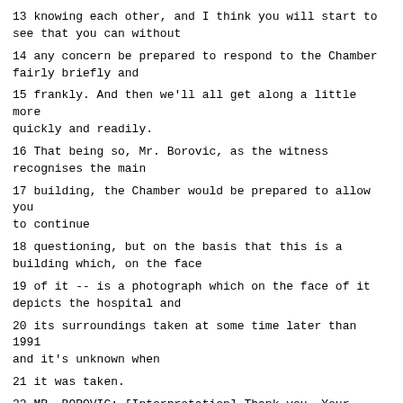13 knowing each other, and I think you will start to see that you can without
14 any concern be prepared to respond to the Chamber fairly briefly and
15 frankly. And then we'll all get along a little more quickly and readily.
16 That being so, Mr. Borovic, as the witness recognises the main
17 building, the Chamber would be prepared to allow you to continue
18 questioning, but on the basis that this is a building which, on the face
19 of it -- is a photograph which on the face of it depicts the hospital and
20 its surroundings taken at some time later than 1991 and it's unknown when
21 it was taken.
22 MR. BOROVIC: [Interpretation] Thank you, Your Honour.
23 JUDGE PARKER: And what has been identified so far is that are